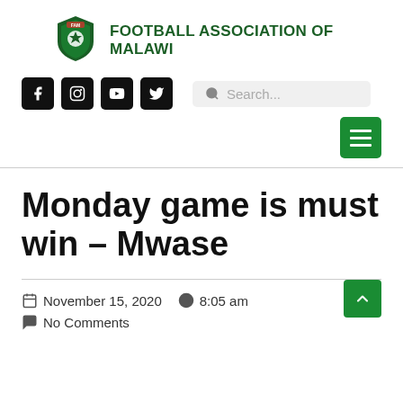FOOTBALL ASSOCIATION OF MALAWI
[Figure (logo): Football Association of Malawi shield logo with green and red colors]
Monday game is must win – Mwase
November 15, 2020   8:05 am
No Comments